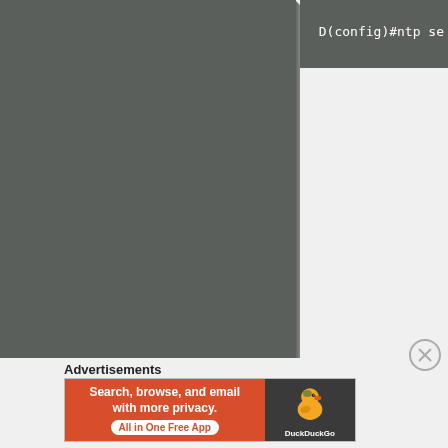[Figure (screenshot): Dark gray terminal/console block occupying the left portion of the screen with a torn paper edge effect on the right side]
[Figure (screenshot): Dark gray code block in top-right corner showing partial command text: D(config)#ntp se]
Advertisements
[Figure (photo): DuckDuckGo advertisement banner: orange left panel reading 'Search, browse, and email with more privacy. All in One Free App' and dark right panel with DuckDuckGo duck logo]